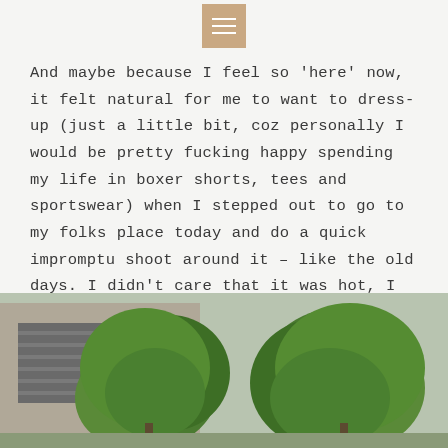[hamburger menu icon]
And maybe because I feel so 'here' now, it felt natural for me to want to dress-up (just a little bit, coz personally I would be pretty fucking happy spending my life in boxer shorts, tees and sportswear) when I stepped out to go to my folks place today and do a quick impromptu shoot around it – like the old days. I didn't care that it was hot, I was sweating, it was windy, my hair were everywhere and that I have hair on pretty much every square inch of my skin by now. It felt great. Hope you guys enjoy the outfit and if you're even the slightest bit offended by my politically-incorrect language in this post – you can fuck right off.
[Figure (photo): Outdoor photo showing green leafy trees against a building facade with a garage door visible on the left side.]